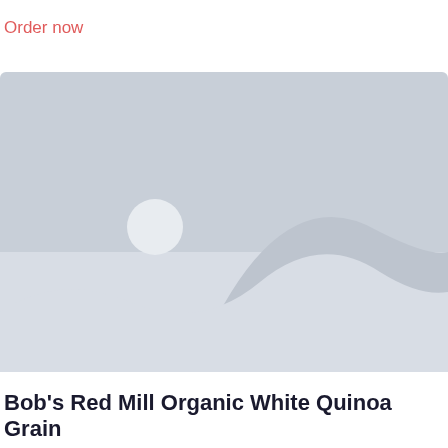Order now
[Figure (photo): Placeholder image with grey background showing stylized mountain/hill silhouette and circle representing sun — standard image placeholder graphic]
Bob's Red Mill Organic White Quinoa Grain